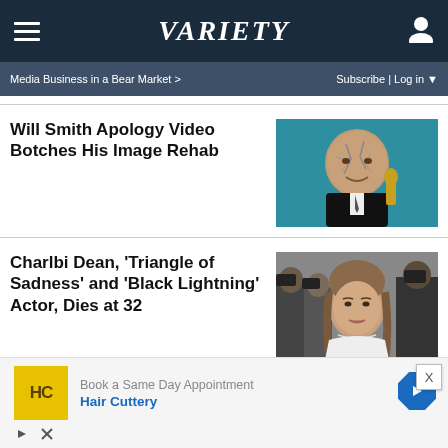VARIETY
Media Business in a Bear Market >
Subscribe | Log in
Will Smith Apology Video Botches His Image Rehab
[Figure (photo): Will Smith with cracked face makeup holding Oscar statuette against teal background]
Charlbi Dean, 'Triangle of Sadness' and 'Black Lightning' Actor, Dies at 32
[Figure (photo): Charlbi Dean at event with photographers in background]
Book a Same Day Appointment
Hair Cuttery